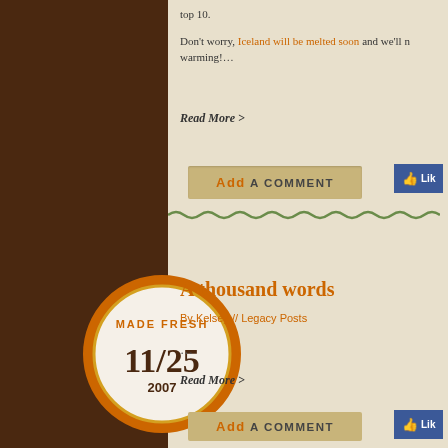top 10.
Don't worry, Iceland will be melted soon and we'll ... warming!...
Read More >
[Figure (other): Add A COMMENT button with tape texture and Like button]
[Figure (other): Made Fresh badge circle with date 11/25 2007]
A thousand words
By Kelsey // Legacy Posts
...
Read More >
[Figure (other): Add A COMMENT button with tape texture at bottom]